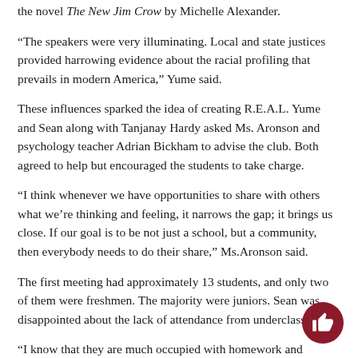the novel The New Jim Crow by Michelle Alexander.
“The speakers were very illuminating. Local and state justices provided harrowing evidence about the racial profiling that prevails in modern America,” Yume said.
These influences sparked the idea of creating R.E.A.L. Yume and Sean along with Tanjanay Hardy asked Ms. Aronson and psychology teacher Adrian Bickham to advise the club. Both agreed to help but encouraged the students to take charge.
“I think whenever we have opportunities to share with others what we’re thinking and feeling, it narrows the gap; it brings us close. If our goal is to be not just a school, but a community, then everybody needs to do their share,” Ms.Aronson said.
The first meeting had approximately 13 students, and only two of them were freshmen. The majority were juniors. Sean was disappointed about the lack of attendance from underclassmen.
“I know that they are much occupied with homework and extracurricular activities, but the topics that R.E.A.L. covers are